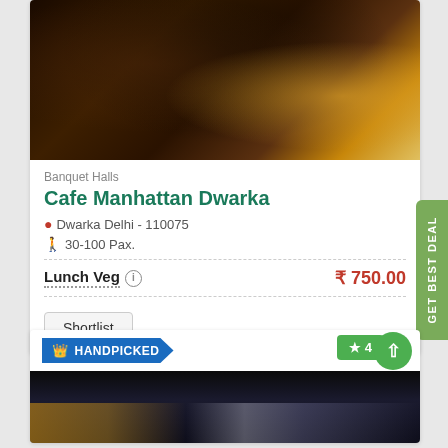[Figure (photo): Interior of Cafe Manhattan Dwarka banquet hall with dark ambiance, decorative panels, and warm lighting]
Banquet Halls
Cafe Manhattan Dwarka
Dwarka Delhi - 110075
30-100 Pax.
Lunch Veg  ₹ 750.00
Shortlist
HANDPICKED
★ 4
[Figure (photo): Exterior nighttime photo of a venue with illuminated signage]